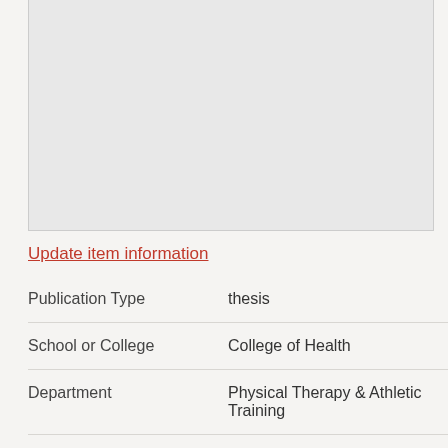[Figure (other): Gray rectangular placeholder box at the top of the page]
Update item information
| Publication Type | thesis |
| School or College | College of Health |
| Department | Physical Therapy & Athletic Training |
| Author | Klass, Scott E. |